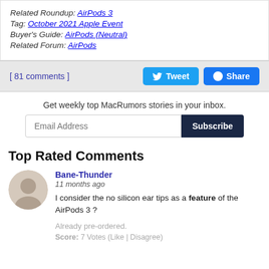Related Roundup: AirPods 3
Tag: October 2021 Apple Event
Buyer's Guide: AirPods (Neutral)
Related Forum: AirPods
[ 81 comments ]
Get weekly top MacRumors stories in your inbox.
Top Rated Comments
Bane-Thunder
11 months ago
I consider the no silicon ear tips as a feature of the AirPods 3 ?
Already pre-ordered.
Score: 7 Votes (Like | Disagree)